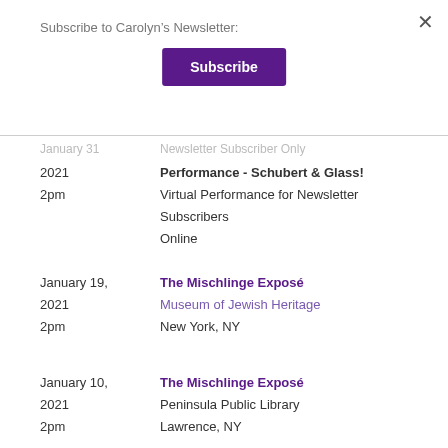Subscribe to Carolyn's Newsletter:
Subscribe
January 31 | Newsletter Subscriber Only
2021 | 2pm | Performance - Schubert & Glass! | Virtual Performance for Newsletter Subscribers | Online
January 19, 2021 | 2pm | The Mischlinge Exposé | Museum of Jewish Heritage | New York, NY
January 10, 2021 | 2pm | The Mischlinge Exposé | Peninsula Public Library | Lawrence, NY